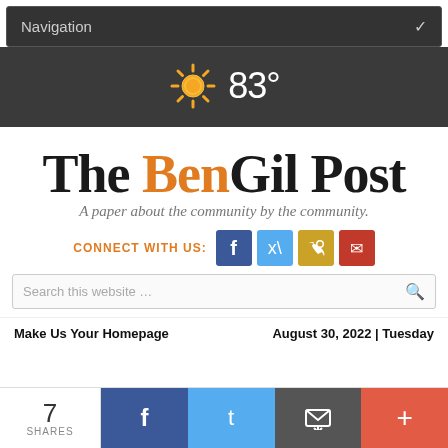Navigation
[Figure (infographic): Weather widget showing sun icon and 83 degrees]
The BenGil Post
A paper about the community by the community.
CONNECT WITH US: [Facebook] [Twitter] [RSS] [Email]
Search this website ...
Make Us Your Homepage    August 30, 2022 | Tuesday
7 SHARES [Facebook] [Twitter] [Email] [+]